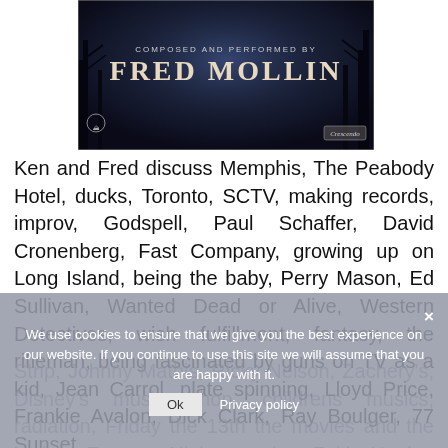[Figure (illustration): Album cover image showing 'Composed and Performed by Fred Mollin' text over a dark atmospheric background with Paramount and Crescendo logos]
Ken and Fred discuss Memphis, The Peabody Hotel, ducks, Toronto, SCTV, making records, improv, Godspell, Paul Schaffer, David Cronenberg, Fast Company, growing up on Long Island, being the baby, Perry Mason, Ed Sullivan, Wanted Dead or Alive, Western Detectives, wish fulfillment, fantasy, the rifleman, being fascinated by guns on TV as a kid, Jean Carrol, plate spinning, Lloyd Price, Frankie Avalon, Dick Clark, Ray Bouler, 77 Sunset Strip, Johnny Mathis, Ricky Nelson, Zachary's, Disney's music shop, childrens musics, radiation, Friday the 13th the movies and the series, Forever Night, synths, Faith Healer, televised Blood Drives,
We use cookies to ensure that we give you the best experience on our website. If you continue to use this site we will assume that you are happy with it.